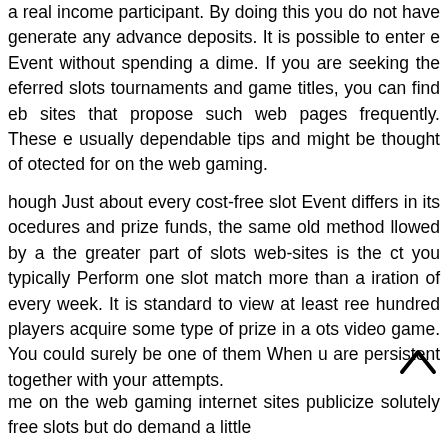a real income participant. By doing this you do not have generate any advance deposits. It is possible to enter e Event without spending a dime. If you are seeking the eferred slots tournaments and game titles, you can find eb sites that propose such web pages frequently. These e usually dependable tips and might be thought of otected for on the web gaming.
hough Just about every cost-free slot Event differs in its ocedures and prize funds, the same old method llowed by a the greater part of slots web-sites is the ct you typically Perform one slot match more than a iration of every week. It is standard to view at least ree hundred players acquire some type of prize in a ots video game. You could surely be one of them When u are persistent together with your attempts.
me on the web gaming internet sites publicize solutely free slots but do demand a little